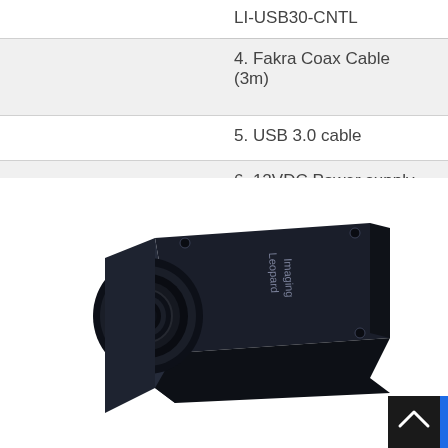|  | LI-USB30-CNTL |
|  | 4. Fakra Coax Cable
(3m) |
|  | 5. USB 3.0 cable |
|  | 6. 12VDC Power supply |
[Figure (photo): Leopard Imaging USB 3.0 camera module with wide-angle lens, shown in perspective view. The black box-shaped camera has 'Leopard Imaging' text on top and a circular wide-angle lens at the front.]